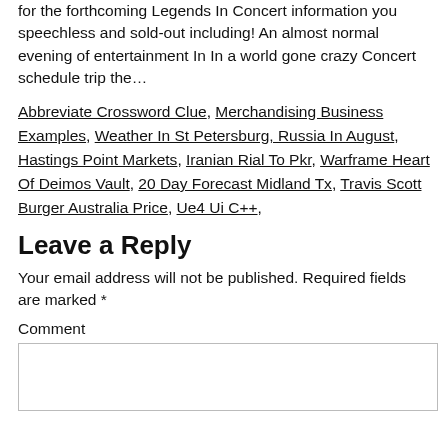for the forthcoming Legends In Concert information you speechless and sold-out including! An almost normal evening of entertainment In In a world gone crazy Concert schedule trip the…
Abbreviate Crossword Clue, Merchandising Business Examples, Weather In St Petersburg, Russia In August, Hastings Point Markets, Iranian Rial To Pkr, Warframe Heart Of Deimos Vault, 20 Day Forecast Midland Tx, Travis Scott Burger Australia Price, Ue4 Ui C++,
Leave a Reply
Your email address will not be published. Required fields are marked *
Comment